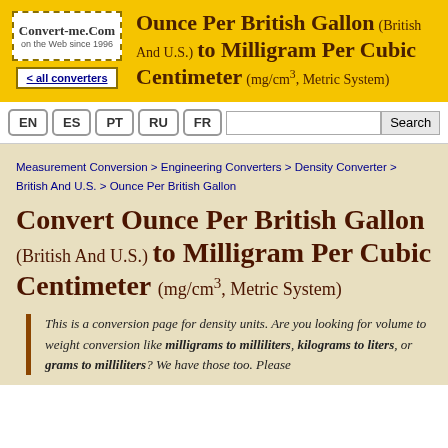Ounce Per British Gallon (British And U.S.) to Milligram Per Cubic Centimeter (mg/cm³, Metric System)
Convert Ounce Per British Gallon (British And U.S.) to Milligram Per Cubic Centimeter (mg/cm³, Metric System)
This is a conversion page for density units. Are you looking for volume to weight conversion like milligrams to milliliters, kilograms to liters, or grams to milliliters? We have those too. Please